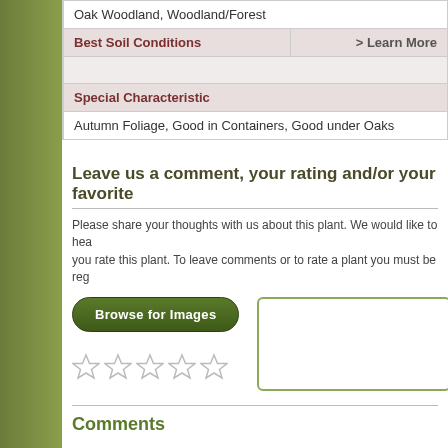| Oak Woodland, Woodland/Forest |
| Best Soil Conditions | > Learn More |
| Special Characteristic |
| Autumn Foliage, Good in Containers, Good under Oaks |
Leave us a comment, your rating and/or your favorite
Please share your thoughts with us about this plant. We would like to hear you rate this plant. To leave comments or to rate a plant you must be reg
[Figure (other): Browse for Images button]
[Figure (other): Five empty star rating icons]
[Figure (other): Text area input box with green border]
Comments
No comments for this plant.